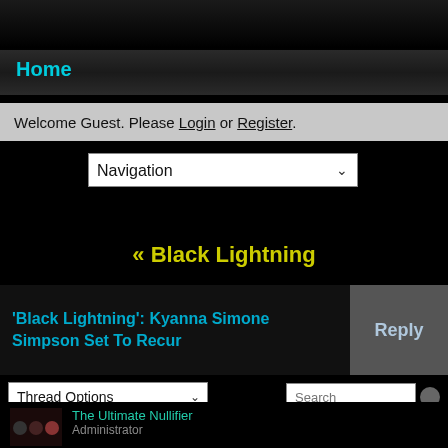Home
Welcome Guest. Please Login or Register.
Navigation (dropdown)
« Black Lightning
'Black Lightning': Kyanna Simone Simpson Set To Recur
Reply
Thread Options (dropdown) | Search
« Prev  1  Next »
The Ultimate Nullifier
Administrator